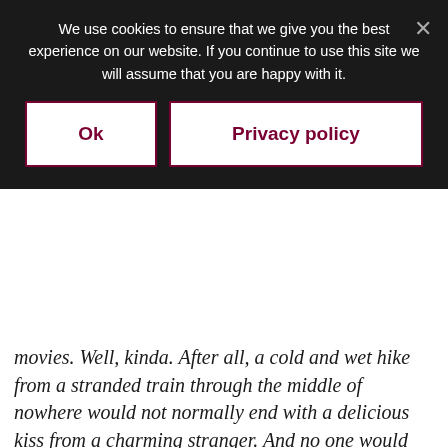We use cookies to ensure that we give you the best experience on our website. If you continue to use this site we will assume that you are happy with it.
Ok | Privacy policy
movies. Well, kinda. After all, a cold and wet hike from a stranded train through the middle of nowhere would not normally end with a delicious kiss from a charming stranger. And no one would think that a trip to the Waffle House through four feet of snow would lead to love with an old friend. Or that the way back to true love begins with a painfully early morning shift at Starbucks. Thanks to three of today's bestselling teen authors—John Green, Maureen Johnson, and Lauren Myracle—the magic of the holidays shines on these hilarious and charming interconnected tales of love.